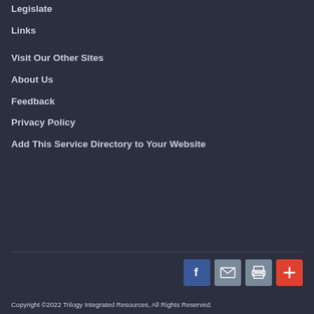Legislate
Links
Visit Our Other Sites
About Us
Feedback
Privacy Policy
Add This Service Directory to Your Website
[Figure (infographic): Social sharing icons: Facebook (blue), Email (grey), Print (grey), Add/Plus (red-orange)]
Copyright ©2022 Trilogy Integrated Resources, All Rights Reserved.